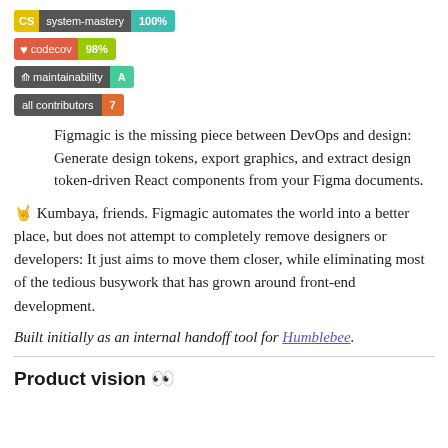[Figure (infographic): CI badge: CS | system-mastery | 100%]
[Figure (infographic): Codecov badge: codecov | 98%]
[Figure (infographic): Maintainability badge: maintainability | A]
[Figure (infographic): All contributors badge: all contributors | 7]
Figmagic is the missing piece between DevOps and design: Generate design tokens, export graphics, and extract design token-driven React components from your Figma documents.
🤘 Kumbaya, friends. Figmagic automates the world into a better place, but does not attempt to completely remove designers or developers: It just aims to move them closer, while eliminating most of the tedious busywork that has grown around front-end development.
Built initially as an internal handoff tool for Humblebee.
Product vision 👀